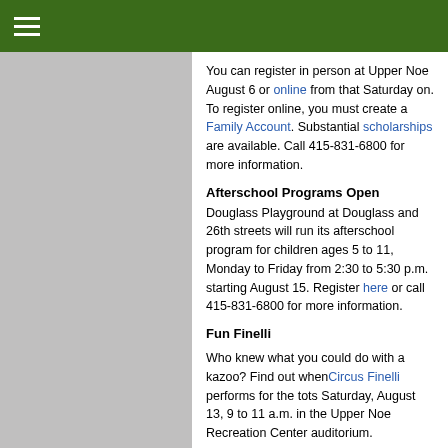You can register in person at Upper Noe August 6 or online from that Saturday on. To register online, you must create a Family Account. Substantial scholarships are available. Call 415-831-6800 for more information.
Afterschool Programs Open
Douglass Playground at Douglass and 26th streets will run its afterschool program for children ages 5 to 11, Monday to Friday from 2:30 to 5:30 p.m.  starting August 15. Register here or call 415-831-6800 for more information.
Fun Finelli
Who knew what you could do with a kazoo? Find out whenCircus Finelli performs for the tots Saturday, August 13, 9 to 11 a.m. in the Upper Noe Recreation Center auditorium.
Verka Zaskodna, Molly Shannon, Luz Gaxiola and Mahsa Matin met at the San Francisco Clown Conservatory and